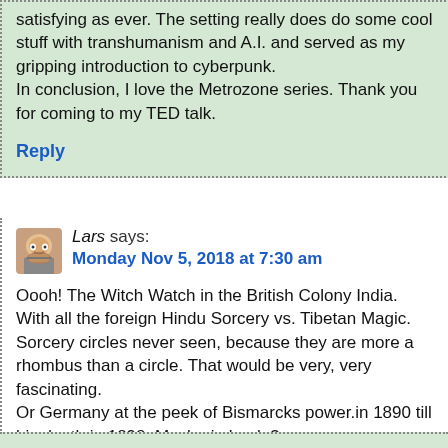satisfying as ever. The setting really does do some cool stuff with transhumanism and A.I. and served as my gripping introduction to cyberpunk.
In conclusion, I love the Metrozone series. Thank you for coming to my TED talk.
Reply
Lars says:
Monday Nov 5, 2018 at 7:30 am
Oooh! The Witch Watch in the British Colony India. With all the foreign Hindu Sorcery vs. Tibetan Magic. Sorcery circles never seen, because they are more a rhombus than a circle. That would be very, very fascinating.
Or Germany at the peek of Bismarcks power.in 1890 till his death in 1898. Maybe in book 3.
Reply